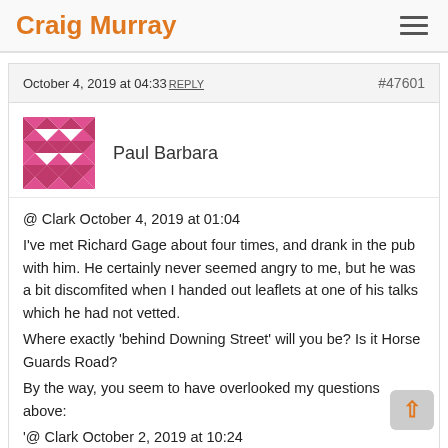Craig Murray
October 4, 2019 at 04:33 REPLY #47601
Paul Barbara
@ Clark October 4, 2019 at 01:04
I've met Richard Gage about four times, and drank in the pub with him. He certainly never seemed angry to me, but he was a bit discomfited when I handed out leaflets at one of his talks which he had not vetted.
Where exactly 'behind Downing Street' will you be? Is it Horse Guards Road?
By the way, you seem to have overlooked my questions above:
'@ Clark October 2, 2019 at 10:24
'…I don't rule out explosives, planted (probably post-impact) at the damaged zones.'